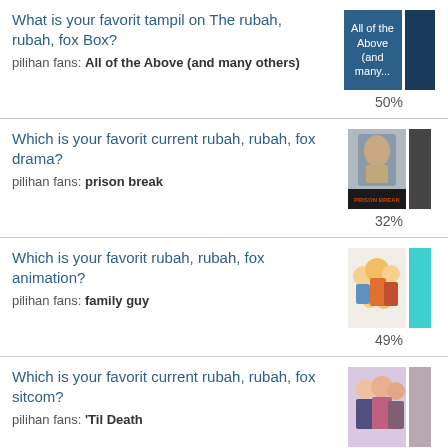What is your favorit tampil on The rubah, rubah, fox Box?
pilihan fans: All of the Above (and many others)
50%
Which is your favorit current rubah, rubah, fox drama?
pilihan fans: prison break
32%
Which is your favorit rubah, rubah, fox animation?
pilihan fans: family guy
49%
Which is your favorit current rubah, rubah, fox sitcom?
pilihan fans: 'Til Death
48%
« sebelumnya   1   selanjutnya »